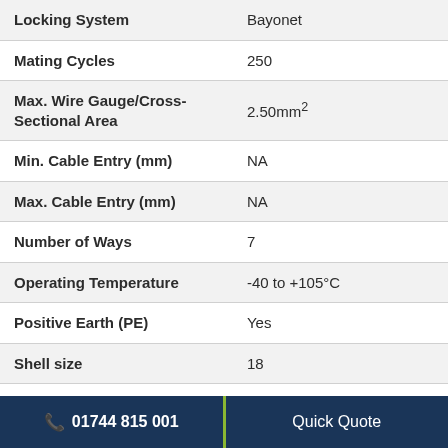| Property | Value |
| --- | --- |
| Locking System | Bayonet |
| Mating Cycles | 250 |
| Max. Wire Gauge/Cross-Sectional Area | 2.50mm² |
| Min. Cable Entry (mm) | NA |
| Max. Cable Entry (mm) | NA |
| Number of Ways | 7 |
| Operating Temperature | -40 to +105°C |
| Positive Earth (PE) | Yes |
| Shell size | 18 |
| Termination | Crimp |
📞 01744 815 001    Quick Quote